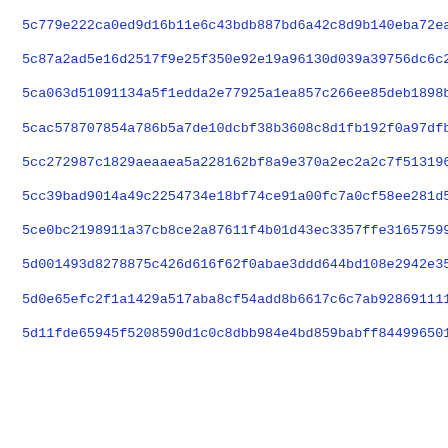5c779e222ca0ed9d16b11e6c43bdb887bd6a42c8d9b140eba72ea509bb414
5c87a2ad5e16d2517f9e25f350e92e19a96130d039a39756dc6c210b3cdfc
5ca063d51091134a5f1edda2e77925a1ea857c266ee85deb1898bdf88efc3
5cac578707854a786b5a7de10dcbf38b3608c8d1fb192f0a97dfbfb098370
5cc272987c1829aeaaea5a228162bf8a9e370a2ec2a2c7f51319690d51cac
5cc39bad9014a49c2254734e18bf74ce91a00fc7a0cf58ee281d522d2b3d3
5ce0bc2198911a37cb8ce2a87611f4b01d43ec3357ffe3165759980c0c7f0
5d001493d8278875c426d616f62f0abae3ddd644bd108e2942e3573d57112
5d0e65efc2f1a1429a517aba8cf54add8b6617c6c7ab928691111f4212b30
5d11fde65945f5208590d1c0c8dbb984e4bd859babff844996501481d80d5